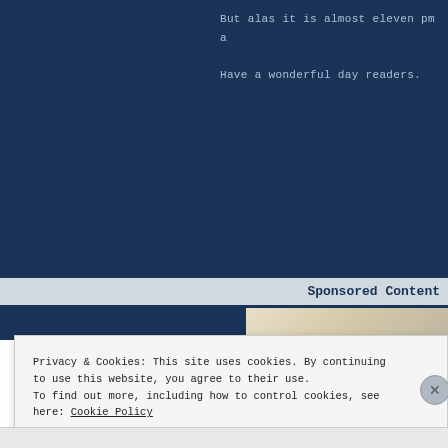But alas it is almost eleven pm a
Have a wonderful day readers.
Sponsored Content
[Figure (photo): Blurred photograph of a light-colored surface, possibly a book or desk, with soft warm tones]
Privacy & Cookies: This site uses cookies. By continuing to use this website, you agree to their use.
To find out more, including how to control cookies, see here: Cookie Policy
Close and accept